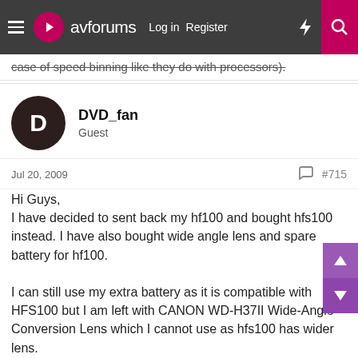avforums | Log in | Register
case of speed binning like they do with processors).
DVD_fan
Guest
Jul 20, 2009  #715
Hi Guys,
I have decided to sent back my hf100 and bought hfs100 instead. I have also bought wide angle lens and spare battery for hf100.

I can still use my extra battery as it is compatible with HFS100 but I am left with CANON WD-H37II Wide-Angle Conversion Lens which I cannot use as hfs100 has wider lens.
I have put it on eBay CANON WD-H37II Wide-Angle Conversion Lens NEW on eBay (end time 19-Aug-09 15:19:27 BST)